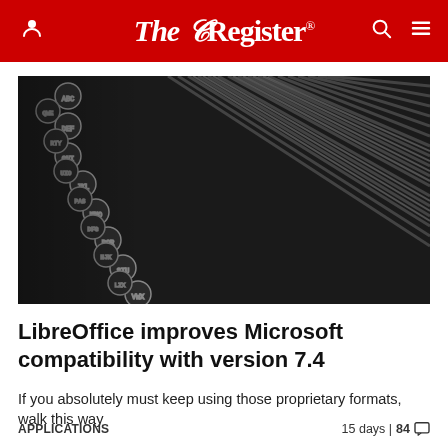The Register
[Figure (photo): Close-up macro photograph of typewriter keys arranged in diagonal rows, black and white, showing the round metal key caps with letters, set against dark metal bars and mechanisms]
LibreOffice improves Microsoft compatibility with version 7.4
If you absolutely must keep using those proprietary formats, walk this way
APPLICATIONS    15 days | 84 comments